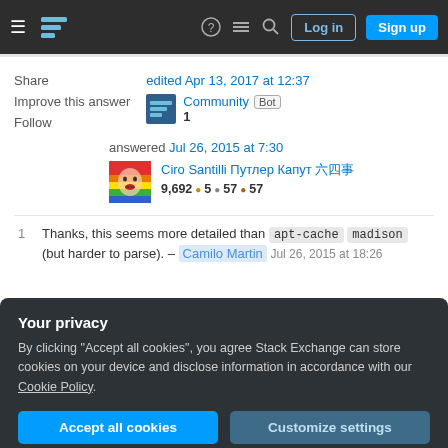Stack Exchange navigation bar with Log in and Sign up buttons
Share
Improve this answer
Follow
edited Apr 13, 2017 at 12:37
Community Bot
1
answered Jul 26, 2015 at 7:30
Ciro Santilli Путлер Капут 六四事
9,692 ●5 ●57 ●57
1   Thanks, this seems more detailed than apt-cache madison (but harder to parse). – Camilo Martin Jul 26, 2015 at 18:26
Your privacy
By clicking "Accept all cookies", you agree Stack Exchange can store cookies on your device and disclose information in accordance with our Cookie Policy.
Accept all cookies   Customize settings
you the version number, the distribution (i.e. testing,